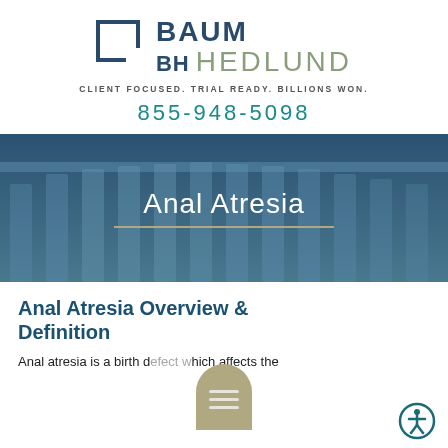[Figure (logo): Baum Hedlund law firm logo with bracket icon, tagline CLIENT FOCUSED. TRIAL READY. BILLIONS WON., and phone number 855-948-5098]
[Figure (photo): Banner image with classical courthouse columns in dark blue tint overlay, containing white text 'Anal Atresia' with a decorative tan horizontal line beneath]
Anal Atresia Overview & Definition
Anal atresia is a birth d[efect] ich affects the